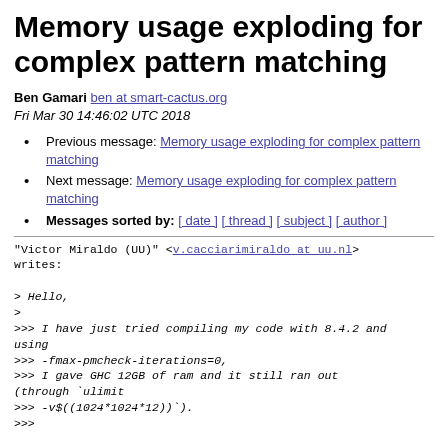Memory usage exploding for complex pattern matching
Ben Gamari ben at smart-cactus.org
Fri Mar 30 14:46:02 UTC 2018
Previous message: Memory usage exploding for complex pattern matching
Next message: Memory usage exploding for complex pattern matching
Messages sorted by: [ date ] [ thread ] [ subject ] [ author ]
"Victor Miraldo (UU)" <v.cacciarimiraldo at uu.nl> writes:

> Hello,
>
>>> I have just tried compiling my code with 8.4.2 and using
>>> -fmax-pmcheck-iterations=0,
>>> I gave GHC 12GB of ram and it still ran out (through `ulimit
>>> -v$((1024*1024*12))`).
>>>